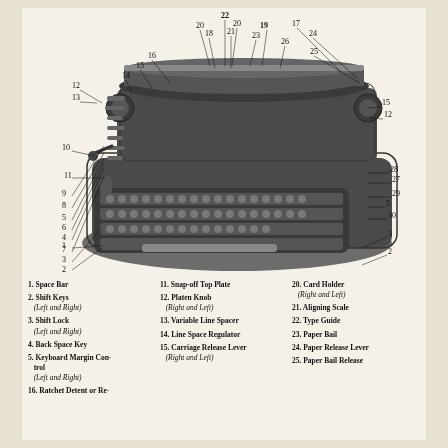[Figure (engineering-diagram): Labeled engineering diagram of a vintage typewriter showing 30 numbered parts including Space Bar, Shift Keys, Shift Lock, Back Space Key, Keyboard Margin Control, Carriage Release Lever, Snap-off Top Plate, Platen Knob, Variable Line Spacer, Line Space Regulator, Carriage Release Lever, Ratchet Detent or Re-set, Card Holder, Aligning Scale, Type Guide, Paper Bail, Paper Release Lever, Paper Bail Release, and others. Numbers 1-30 are indicated with leader lines pointing to the respective parts on the typewriter illustration.]
1. Space Bar
2. Shift Keys (Left and Right)
3. Shift Lock (Left and Right)
4. Back Space Key
5. Keyboard Margin Control (Left and Right)
11. Snap-off Top Plate
12. Platen Knob (Right and Left)
13. Variable Line Spacer
14. Line Space Regulator
15. Carriage Release Lever (Right and Left)
16. Ratchet Detent or Re-
20. Card Holder (Right and Left)
21. Aligning Scale
22. Type Guide
23. Paper Bail
24. Paper Release Lever
25. Paper Bail Release